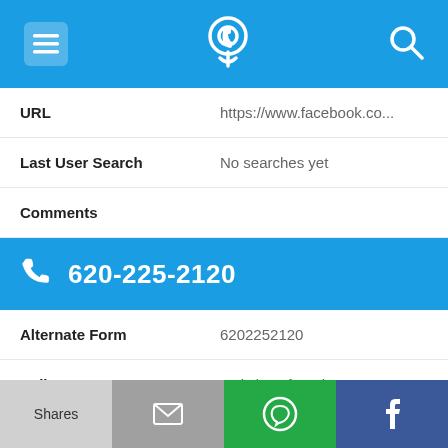620-225-2120 phone lookup app header
URL	https://www.facebook.co...
Last User Search	No searches yet
Comments
620-225-2120
Alternate Form	6202252120
Caller name	2 Listings found
Last User Search	No searches yet
Shares | email | WhatsApp | Facebook